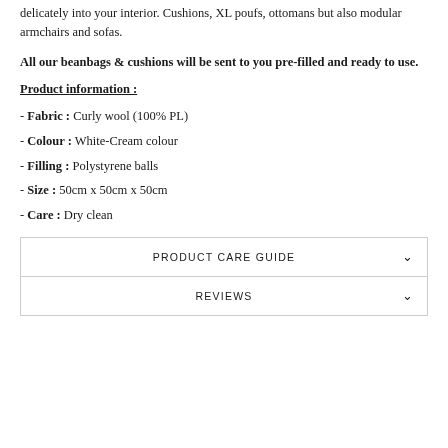delicately into your interior. Cushions, XL poufs, ottomans but also modular armchairs and sofas.
All our beanbags & cushions will be sent to you pre-filled and ready to use.
Product information :
- Fabric : Curly wool (100% PL)
- Colour : White-Cream colour
- Filling : Polystyrene balls
- Size : 50cm x 50cm x 50cm
- Care : Dry clean
PRODUCT CARE GUIDE
REVIEWS